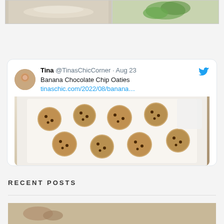[Figure (photo): Two food photos at top: left shows a light-colored dish, right shows broccoli on a plate]
[Figure (screenshot): Twitter/X card from user Tina @TinasChicCorner dated Aug 23, showing 'Banana Chocolate Chip Oaties' with link tinaschic.com/2022/08/banana... and a photo of oat cookies with chocolate chips on parchment paper]
RECENT POSTS
[Figure (photo): Partial preview image of a recent post at bottom of page]